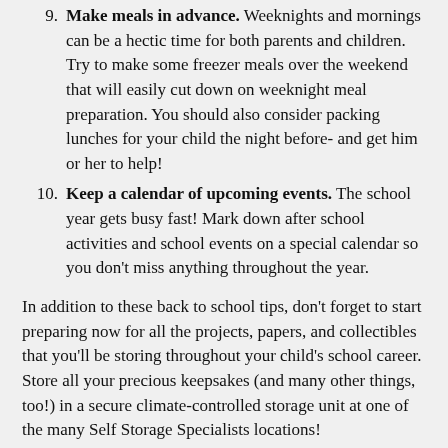Make meals in advance. Weeknights and mornings can be a hectic time for both parents and children. Try to make some freezer meals over the weekend that will easily cut down on weeknight meal preparation. You should also consider packing lunches for your child the night before- and get him or her to help!
Keep a calendar of upcoming events. The school year gets busy fast! Mark down after school activities and school events on a special calendar so you don't miss anything throughout the year.
In addition to these back to school tips, don't forget to start preparing now for all the projects, papers, and collectibles that you'll be storing throughout your child's school career. Store all your precious keepsakes (and many other things, too!) in a secure climate-controlled storage unit at one of the many Self Storage Specialists locations!